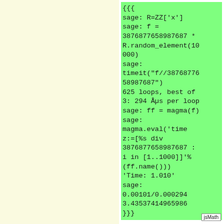(blank left panel - light yellow background)
{{{
sage: R=ZZ['x']
sage: f =
3876877658987687 *
R.random_element(10
000)
sage:
timeit("f//38768776
58987687")
625 loops, best of
3: 294 µs per loop
sage: ff = magma(f)
sage:
magma.eval('time
z:=[%s div
3876877658987687 :
i in [1..1000]]'%
(ff.name()))
'Time: 1.010'
sage:
0.00101/0.000294
3.43537414965986
}}}
jsMath